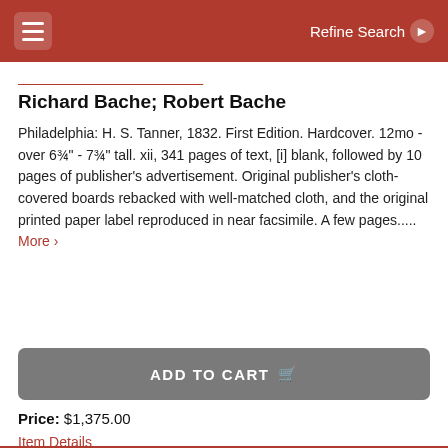Refine Search
Richard Bache; Robert Bache
Philadelphia: H. S. Tanner, 1832. First Edition. Hardcover. 12mo - over 6¾" - 7¾" tall. xii, 341 pages of text, [i] blank, followed by 10 pages of publisher's advertisement. Original publisher's cloth-covered boards rebacked with well-matched cloth, and the original printed paper label reproduced in near facsimile. A few pages..... More ›
ADD TO CART
Price: $1,375.00
Item Details
Ask a Question